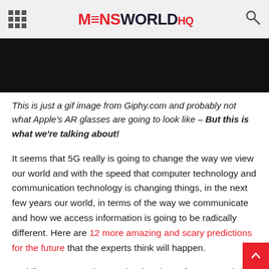MENSWORLDHQ
[Figure (photo): Dark/black image area, partial view of an AR glasses gif from Giphy.com]
This is just a gif image from Giphy.com and probably not what Apple's AR glasses are going to look like – But this is what we're talking about!
It seems that 5G really is going to change the way we view our world and with the speed that computer technology and communication technology is changing things, in the next few years our world, in terms of the way we communicate and how we access information is going to be radically different. Here are 12 more amazing and scary predictions for the future that the experts think will happen.
And if Amazon, Apple, Facebook, Microsoft, Snap and Samsung off their planned new tech launches in the next couple of years